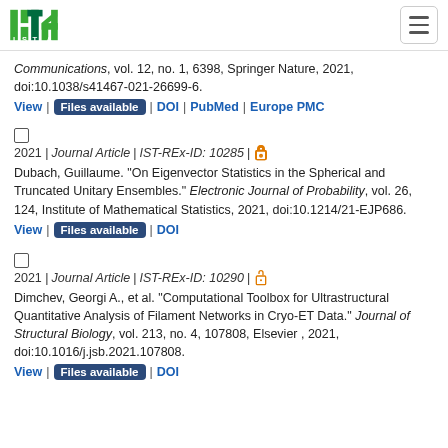ISTA logo and navigation
Communications, vol. 12, no. 1, 6398, Springer Nature, 2021, doi:10.1038/s41467-021-26699-6.
View | Files available | DOI | PubMed | Europe PMC
2021 | Journal Article | IST-REx-ID: 10285 | [open access]
Dubach, Guillaume. "On Eigenvector Statistics in the Spherical and Truncated Unitary Ensembles." Electronic Journal of Probability, vol. 26, 124, Institute of Mathematical Statistics, 2021, doi:10.1214/21-EJP686.
View | Files available | DOI
2021 | Journal Article | IST-REx-ID: 10290 | [open access]
Dimchev, Georgi A., et al. "Computational Toolbox for Ultrastructural Quantitative Analysis of Filament Networks in Cryo-ET Data." Journal of Structural Biology, vol. 213, no. 4, 107808, Elsevier , 2021, doi:10.1016/j.jsb.2021.107808.
View | Files available | DOI